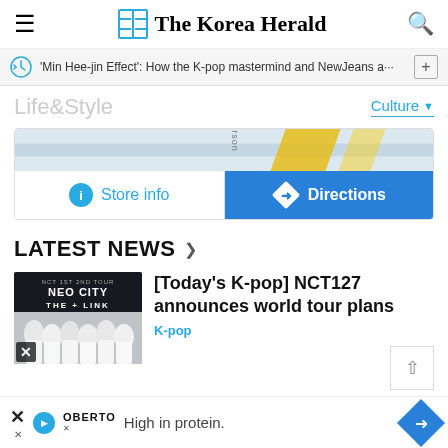The Korea Herald
'Min Hee-jin Effect': How the K-pop mastermind and NewJeans a···
Life&Style
Culture
[Figure (map): Partial map showing roads with Store info and Directions buttons]
LATEST NEWS
[Figure (photo): NCT 127 2ND TOUR NEO CITY THE+LINK promotional image with group members]
[Today's K-pop] NCT127 announces world tour plans
K-pop
High in protein.